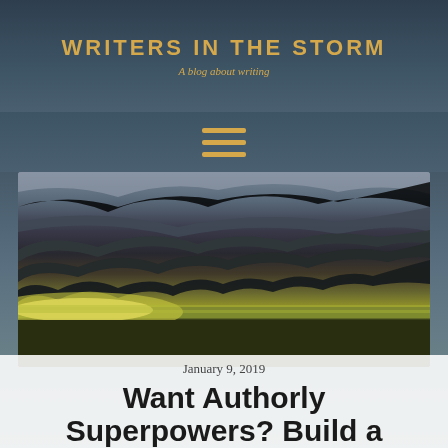WRITERS IN THE STORM
A blog about writing
[Figure (illustration): Hamburger menu icon with three horizontal golden lines on dark blue-grey background]
[Figure (photo): Dramatic storm photograph showing a massive supercell thunderstorm cloud formation rolling over flat green farmland at sunset, with bright light breaking through below the dark churning clouds]
January 9, 2019
Want Authorly Superpowers? Build a